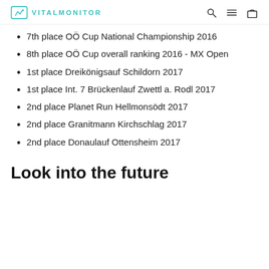VITALMONITOR
7th place OÖ Cup National Championship 2016
8th place OÖ Cup overall ranking 2016 - MX Open
1st place Dreikönigsauf Schildorn 2017
1st place Int. 7 Brückenlauf Zwettl a. Rodl 2017
2nd place Planet Run Hellmonsödt 2017
2nd place Granitmann Kirchschlag 2017
2nd place Donaulauf Ottensheim 2017
Look into the future